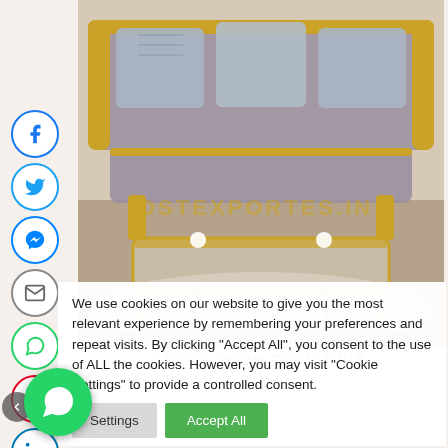[Figure (photo): Ornate gold baroque living room furniture set with sofa and coffee table, watermark text 'OSTEXPORTES.IN' visible on image]
LIVING ROOM FURNITURE
We use cookies on our website to give you the most relevant experience by remembering your preferences and repeat visits. By clicking "Accept All", you consent to the use of ALL the cookies. However, you may visit "Cookie Settings" to provide a controlled consent.
[Figure (illustration): Cookie settings button and Accept All button]
[Figure (illustration): WhatsApp floating action button (green circle)]